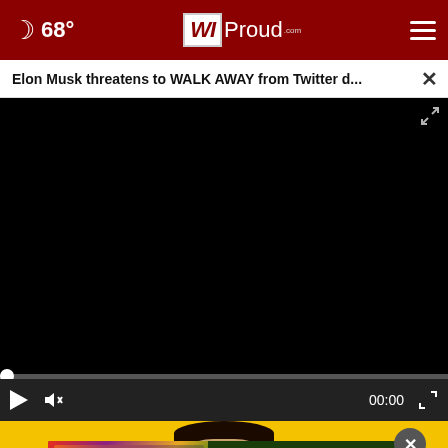68° WIProud.com
Elon Musk threatens to WALK AWAY from Twitter d...
[Figure (screenshot): Black video player area with scrubber bar, play button, mute button, 00:00 timestamp, and fullscreen icon on dark control bar]
[Figure (photo): Person with dark hair visible at top of yellow background section with advertisement overlay]
[Figure (infographic): DISCOVERtheFOREST.org advertisement banner with colorful floral/forest imagery, Ad Council badge, and US Forest Service badge]